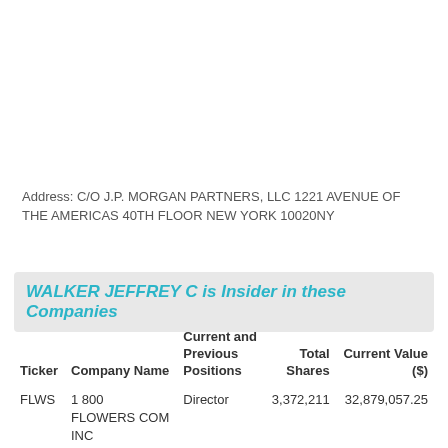Address: C/O J.P. MORGAN PARTNERS, LLC 1221 AVENUE OF THE AMERICAS 40TH FLOOR NEW YORK 10020NY
WALKER JEFFREY C is Insider in these Companies
| Ticker | Company Name | Current and Previous Positions | Total Shares | Current Value ($) |
| --- | --- | --- | --- | --- |
| FLWS | 1 800 FLOWERS COM INC | Director | 3,372,211 | 32,879,057.25 |